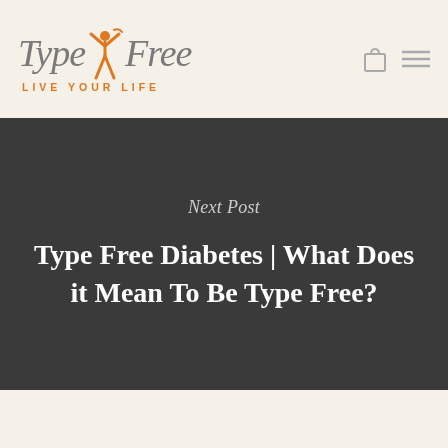[Figure (logo): Type Free Diabetes logo with stylized figure between 'Type' and 'Free' in grey italic serif font, with orange 'LIVE YOUR LIFE' tagline below]
Next Post
Type Free Diabetes | What Does it Mean To Be Type Free?